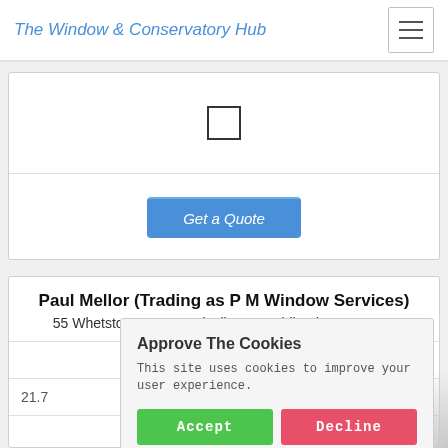The Window & Conservatory Hub
[Figure (screenshot): Checkbox input element (unchecked)]
Get a Quote
Paul Mellor (Trading as P M Window Services)
55 Whetstone Lane, Walsall, West Midlands, WS9 0EU
21.7
[Figure (other): Star rating display showing empty stars]
Approve The Cookies
This site uses cookies to improve your user experience.
Accept   Decline
Cookie policy